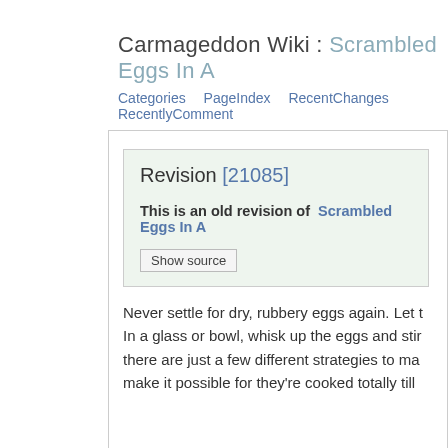Carmageddon Wiki : Scrambled Eggs In A
Categories   PageIndex   RecentChanges   RecentlyComment
Revision [21085]
This is an old revision of Scrambled Eggs In A
Show source
Never settle for dry, rubbery eggs again. Let t In a glass or bowl, whisk up the eggs and stir there are just a few different strategies to ma make it possible for they're cooked totally till